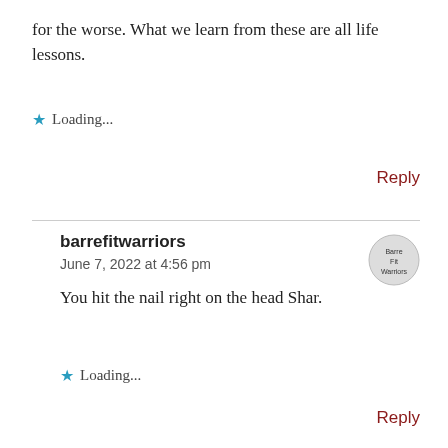for the worse. What we learn from these are all life lessons.
Loading...
Reply
barrefitwarriors
June 7, 2022 at 4:56 pm
You hit the nail right on the head Shar.
Loading...
Reply